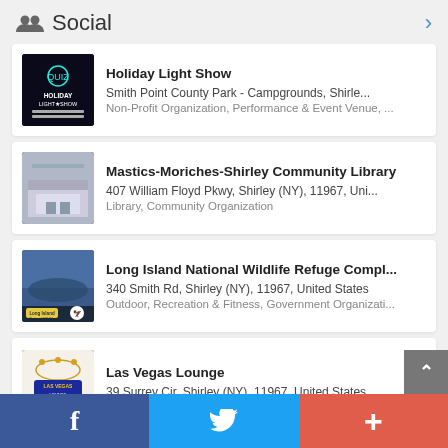Social
Holiday Light Show
Smith Point County Park - Campgrounds, Shirle...
Non-Profit Organization, Performance & Event Venue, ...
Mastics-Moriches-Shirley Community Library
407 William Floyd Pkwy, Shirley (NY), 11967, Uni...
Library, Community Organization
Long Island National Wildlife Refuge Compl...
340 Smith Rd, Shirley (NY), 11967, United States
Outdoor, Recreation & Fitness, Government Organizati...
Las Vegas Lounge
39 Surrey Cir, Shirley (NY), 11967, United States
f  (twitter bird)  +